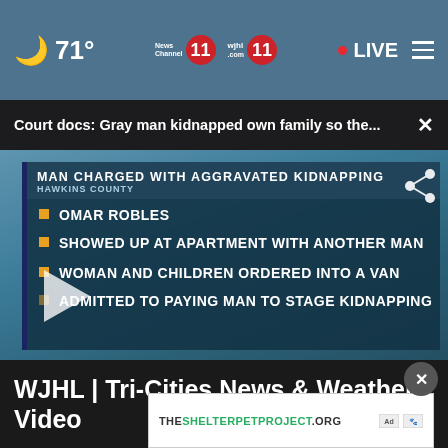71° News Channel 11 wjhl 11 LIVE
Court docs: Gray man kidnapped own family so the... ×
[Figure (screenshot): TV news broadcast graphic overlay showing bullet points: MAN CHARGED WITH AGGRAVATED KIDNAPPING / HAWKINS COUNTY. Bullets: OMAR ROBLES, SHOWED UP AT APARTMENT WITH ANOTHER MAN, WOMAN AND CHILDREN ORDERED INTO A VAN, ADMITTED TO PAYING MAN TO STAGE KIDNAPPING. Play button overlay visible.]
WJHL | Tri-Cities News & Weather Video
THESHELTERPETPROJECT.ORG